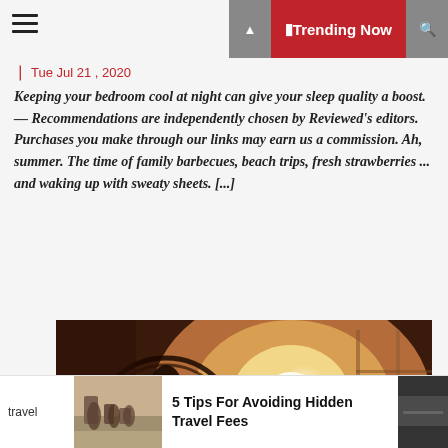Trending Now
Tue Jul 21, 2020
Keeping your bedroom cool at night can give your sleep quality a boost. — Recommendations are independently chosen by Reviewed's editors. Purchases you make through our links may earn us a commission. Ah, summer. The time of family barbecues, beach trips, fresh strawberries ... and waking up with sweaty sheets. [...]
[Figure (photo): A bedroom fan silhouetted against bright sunlight coming through a window, with a bed visible in the background]
travel
[Figure (photo): A family with luggage at what appears to be an airport]
5 Tips For Avoiding Hidden Travel Fees
[Figure (photo): Partial thumbnail image on far right of bottom strip]